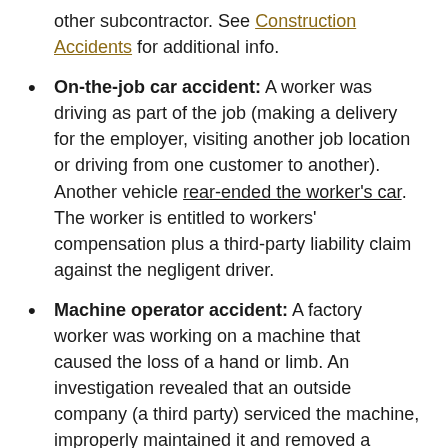other subcontractor. See Construction Accidents for additional info.
On-the-job car accident: A worker was driving as part of the job (making a delivery for the employer, visiting another job location or driving from one customer to another). Another vehicle rear-ended the worker's car. The worker is entitled to workers' compensation plus a third-party liability claim against the negligent driver.
Machine operator accident: A factory worker was working on a machine that caused the loss of a hand or limb. An investigation revealed that an outside company (a third party) serviced the machine, improperly maintained it and removed a safety guard, which is a violation of safety guidelines. The employee would get workers' compensation plus have a case against the outside service company.
Temporary worker accident: A worker at a